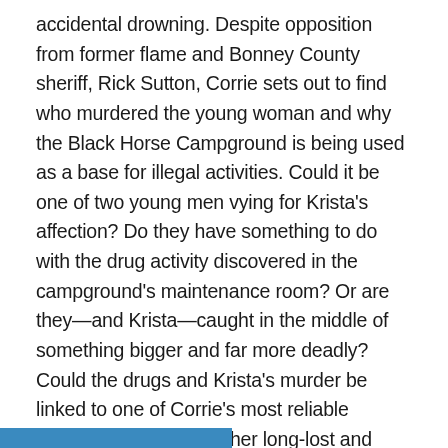accidental drowning. Despite opposition from former flame and Bonney County sheriff, Rick Sutton, Corrie sets out to find who murdered the young woman and why the Black Horse Campground is being used as a base for illegal activities. Could it be one of two young men vying for Krista's affection? Do they have something to do with the drug activity discovered in the campground's maintenance room? Or are they—and Krista—caught in the middle of something bigger and far more deadly? Could the drugs and Krista's murder be linked to one of Corrie's most reliable employees... or one of her long-lost and least trustworthy friends? Of course, to add more interest, former Houston PD lieutenant, J.D. Wilder, is back to assist with the case and add to the mystery of how the love triangle among Corrie, Rick, and J.D. will be resolved.
[Figure (photo): Partial blue image visible at the bottom of the page]